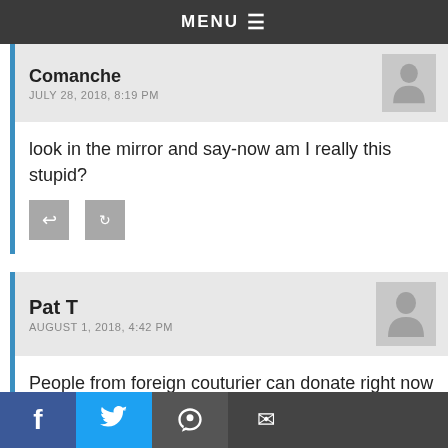MENU ≡
Comanche
JULY 28, 2018, 8:19 PM
look in the mirror and say-now am I really this stupid?
Pat T
AUGUST 1, 2018, 4:42 PM
People from foreign couturier can donate right now to any gun control group. Foreigners from anywhere outside the US Russia have donated to